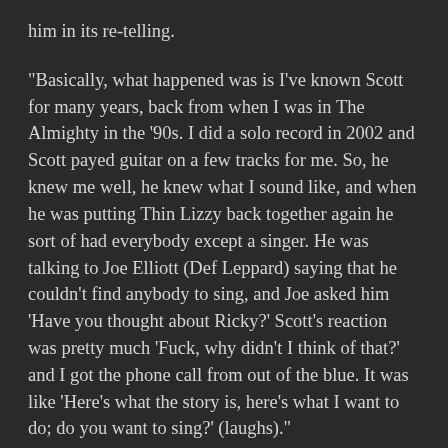him in its re-telling.
“Basically, what happened was is I’ve known Scott for many years, back from when I was in The Almighty in the ’90s. I did a solo record in 2002 and Scott payed guitar on a few tracks for me. So, he knew me well, he knew what I sound like, and when he was putting Thin Lizzy back together again he sort of had everybody except a singer. He was talking to Joe Elliott (Def Leppard) saying that he couldn’t find anybody to sing, and Joe asked him ‘Have you thought about Ricky?’ Scott’s reaction was pretty much ‘Fuck, why didn’t I think of that?’ and I got the phone call from out of the blue. It was like ‘Here’s what the story is, here’s what I want to do; do you want to sing?’ (laughs).”
“I describe it as winning the musical lottery. Thin Lizzy is the band I idolized my whole life, and I was